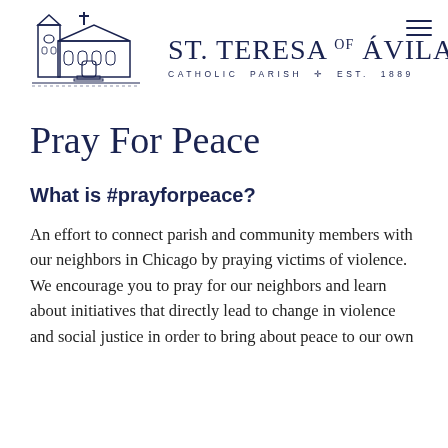[Figure (logo): St. Teresa of Avila Catholic Parish logo with church building illustration and parish name text. EST. 1889.]
Pray For Peace
What is #prayforpeace?
An effort to connect parish and community members with our neighbors in Chicago by praying victims of violence.  We encourage you to pray for our neighbors and learn about initiatives that directly lead to change in violence and social justice in order to bring about peace to our own